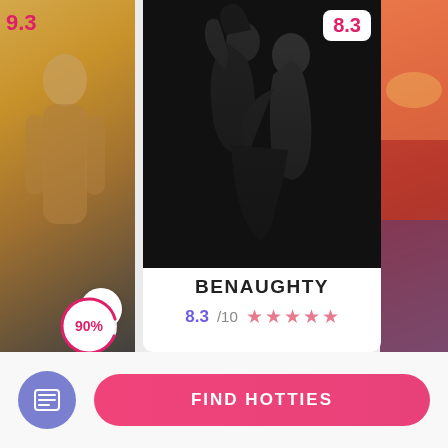9.3
[Figure (photo): Partial card on the left showing an autumn outdoor photo]
[Figure (photo): Central card with black and white artistic photo of two people embracing, score badge 8.3]
8.3
[Figure (photo): Partial card on right showing sunset/ocean photo]
BENAUGHTY
8.3/10 ★★★★☆
90%
FIND HOTTIES